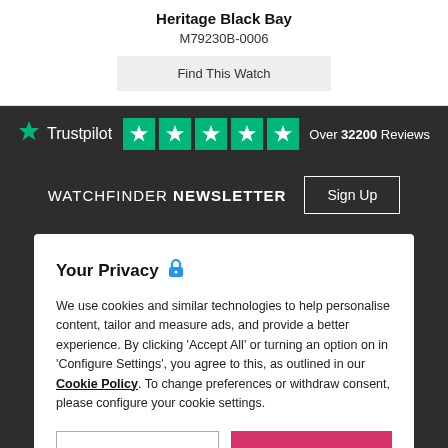Heritage Black Bay
M79230B-0006
Find This Watch
Trustpilot  ★★★★★  Over 32200 Reviews
WATCHFINDER NEWSLETTER  Sign Up
Your Privacy 🔒
We use cookies and similar technologies to help personalise content, tailor and measure ads, and provide a better experience. By clicking 'Accept All' or turning an option on in 'Configure Settings', you agree to this, as outlined in our Cookie Policy. To change preferences or withdraw consent, please configure your cookie settings.
Configure Settings
Accept All